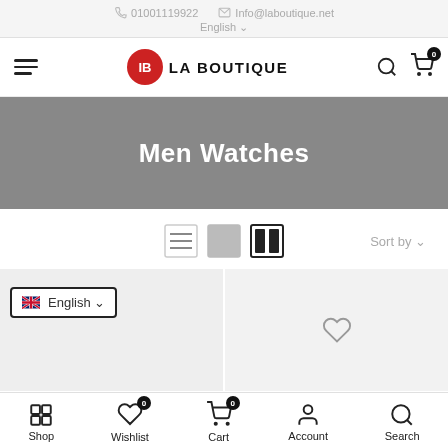01001119922  Info@laboutique.net  English
[Figure (logo): LA BOUTIQUE logo with red circle containing IB letters]
Men Watches
[Figure (infographic): View toggle icons (list, grid, two-column) and Sort by dropdown]
[Figure (infographic): Two product card placeholders with heart/wishlist icon on right card]
English
Shop  Wishlist 0  Cart 0  Account  Search